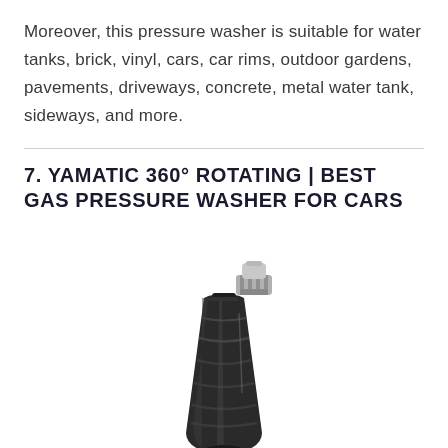Moreover, this pressure washer is suitable for water tanks, brick, vinyl, cars, car rims, outdoor gardens, pavements, driveways, concrete, metal water tank, sideways, and more.
7. YAMATIC 360° ROTATING | BEST GAS PRESSURE WASHER FOR CARS
[Figure (photo): Close-up photo of a black rotating 360° pressure washer nozzle/turbo nozzle with a silver metal quick-connect fitting at the top. The nozzle is elongated and torpedo-shaped with ribbed ridges along its body.]